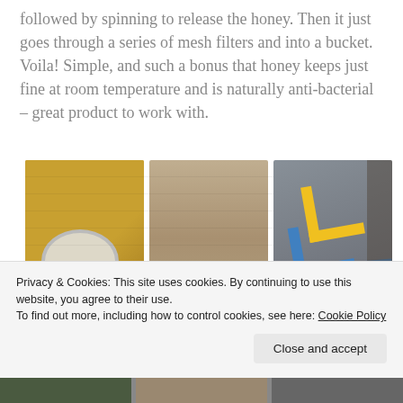followed by spinning to release the honey. Then it just goes through a series of mesh filters and into a bucket. Voila! Simple, and such a bonus that honey keeps just fine at room temperature and is naturally anti-bacterial – great product to work with.
[Figure (photo): Three side-by-side photos: left shows a mechanical tool/extractor in a yellow box, center shows a wooden surface, right shows a package with yellow and blue cross/chevron markings]
Privacy & Cookies: This site uses cookies. By continuing to use this website, you agree to their use.
To find out more, including how to control cookies, see here: Cookie Policy
[Figure (photo): Three partially visible photos at the bottom of the page]